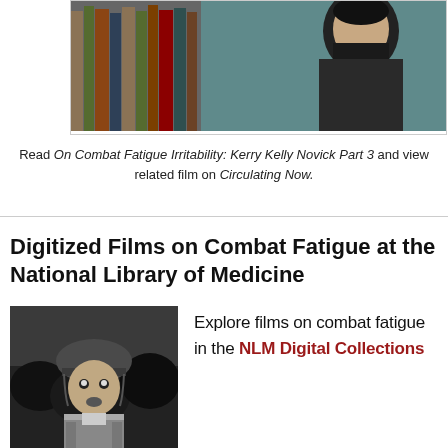[Figure (photo): Black and white photo of a person in front of bookshelves, partially cropped at top]
Read On Combat Fatigue Irritability: Kerry Kelly Novick Part 3 and view related film on Circulating Now.
Digitized Films on Combat Fatigue at the National Library of Medicine
[Figure (photo): Black and white still from a film showing a soldier wearing a helmet, looking distressed]
Explore films on combat fatigue in the NLM Digital Collections
Digitized Films on World War II-era Public